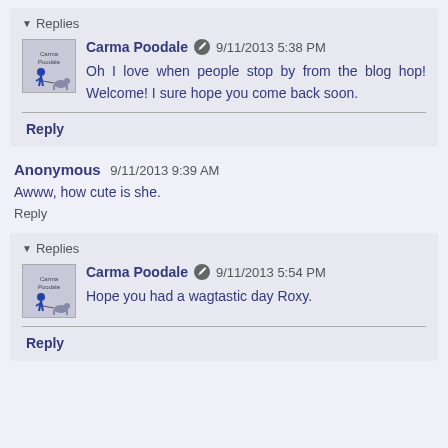Replies
Carma Poodale  9/11/2013 5:38 PM
Oh I love when people stop by from the blog hop! Welcome! I sure hope you come back soon.
Reply
Anonymous  9/11/2013 9:39 AM
Awww, how cute is she.
Reply
Replies
Carma Poodale  9/11/2013 5:54 PM
Hope you had a wagtastic day Roxy.
Reply